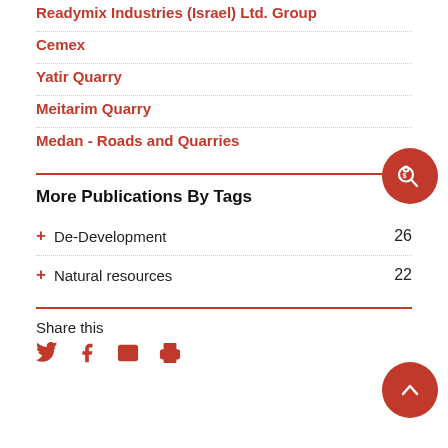Readymix Industries (Israel) Ltd. Group
Cemex
Yatir Quarry
Meitarim Quarry
Medan - Roads and Quarries
More Publications By Tags
+ De-Development  26
+ Natural resources  22
Share this